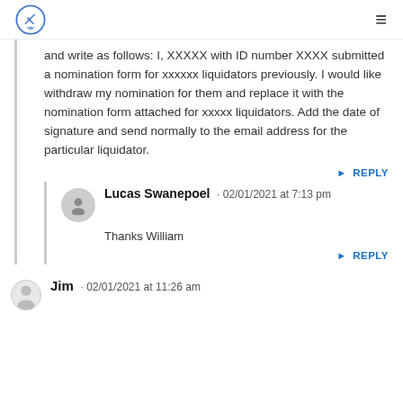Logo and navigation menu
and write as follows: I, XXXXX with ID number XXXX submitted a nomination form for xxxxxx liquidators previously. I would like withdraw my nomination for them and replace it with the nomination form attached for xxxxx liquidators. Add the date of signature and send normally to the email address for the particular liquidator.
REPLY
Lucas Swanepoel · 02/01/2021 at 7:13 pm
Thanks William
REPLY
Jim · 02/01/2021 at 11:26 am